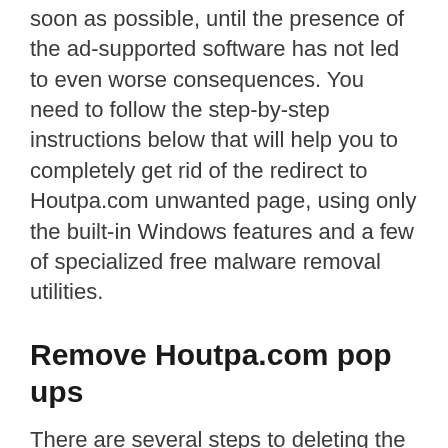soon as possible, until the presence of the ad-supported software has not led to even worse consequences. You need to follow the step-by-step instructions below that will help you to completely get rid of the redirect to Houtpa.com unwanted page, using only the built-in Windows features and a few of specialized free malware removal utilities.
Remove Houtpa.com pop ups
There are several steps to deleting the adware that causes lots of annoying Houtpa.com pop up advertisements, because it installs itself so deeply into Microsoft Windows. You need to uninstall all suspicious and unknown programs, then remove malicious addons from the Google Chrome, Firefox, Edge and Internet Explorer and other web-browsers you